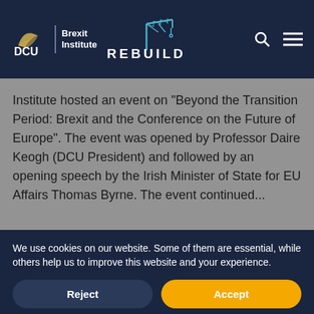DCU Brexit Institute | REBUILD
Institute hosted an event on "Beyond the Transition Period: Brexit and the Conference on the Future of Europe". The event was opened by Professor Daire Keogh (DCU President) and followed by an opening speech by the Irish Minister of State for EU Affairs Thomas Byrne. The event continued...
We use cookies on our website. Some of them are essential, while others help us to improve this website and your experience.
Reject
Accept
Learn more and customize